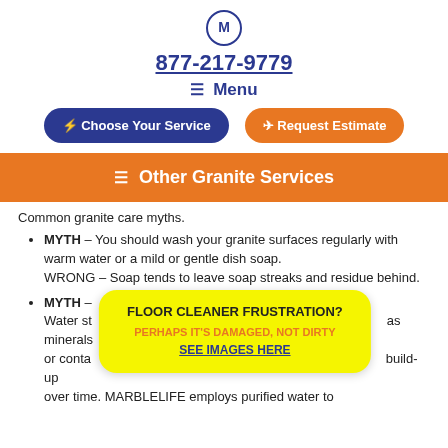M 877-217-9779
≡ Menu
⚡ Choose Your Service | ✈ Request Estimate
≡ Other Granite Services
Common granite care myths.
MYTH – You should wash your granite surfaces regularly with warm water or a mild or gentle dish soap. WRONG – Soap tends to leave soap streaks and residue behind.
MYTH – Water stains... as minerals or contain build-up over time. MARBLELIFE employs purified water to...
[Figure (infographic): Yellow popup overlay with bold text: FLOOR CLEANER FRUSTRATION? PERHAPS IT'S DAMAGED, NOT DIRTY SEE IMAGES HERE]